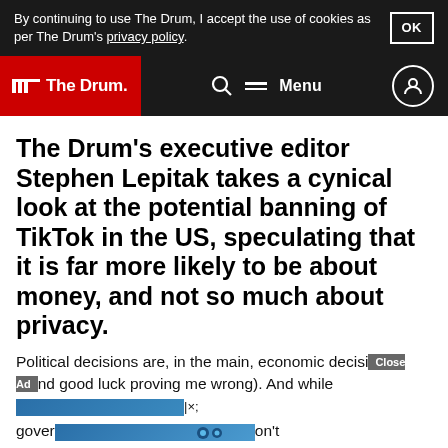By continuing to use The Drum, I accept the use of cookies as per The Drum's privacy policy. OK
The Drum  Menu
The Drum’s executive editor Stephen Lepitak takes a cynical look at the potential banning of TikTok in the US, speculating that it is far more likely to be about money, and not so much about privacy.
Political decisions are, in the main, economic decisions (and good luck proving me wrong). And while [ad overlay] |x; gover[ad overlay]on't